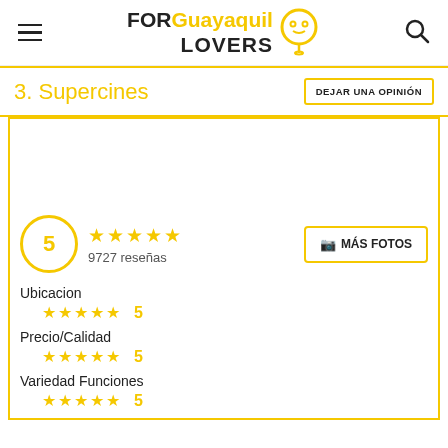FOR Guayaquil LOVERS [logo with location pin icon] [hamburger menu] [search icon]
3. Supercines
DEJAR UNA OPINIÓN
[Figure (photo): Photo placeholder area for Supercines]
5  ★★★★★  9727 reseñas  📷 MÁS FOTOS
Ubicacion
★★★★★ 5
Precio/Calidad
★★★★★ 5
Variedad Funciones
★★★★★ 5